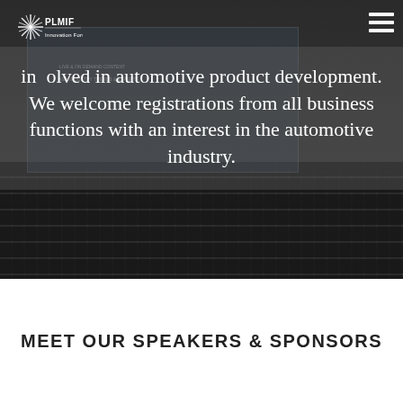[Figure (photo): Dark background showing a laptop keyboard and screen in grayscale, used as a hero image background for PLMIF Innovation Forum website]
PLMIF Innovation Forum logo (top-left) and hamburger menu icon (top-right)
involved in automotive product development. We welcome registrations from all business functions with an interest in the automotive industry.
MEET OUR SPEAKERS & SPONSORS